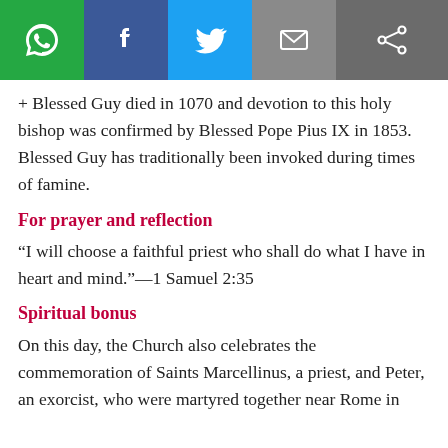[Figure (other): Social sharing bar with WhatsApp, Facebook, Twitter, Email, and general share icons]
+ Blessed Guy died in 1070 and devotion to this holy bishop was confirmed by Blessed Pope Pius IX in 1853. Blessed Guy has traditionally been invoked during times of famine.
For prayer and reflection
“I will choose a faithful priest who shall do what I have in heart and mind.”—1 Samuel 2:35
Spiritual bonus
On this day, the Church also celebrates the commemoration of Saints Marcellinus, a priest, and Peter, an exorcist, who were martyred together near Rome in